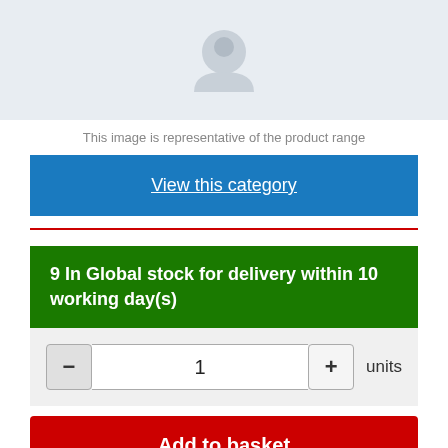[Figure (photo): Product placeholder image with a grey circular icon on a light blue-grey background]
This image is representative of the product range
View this category
9 In Global stock for delivery within 10 working day(s)
1 units
Add to basket